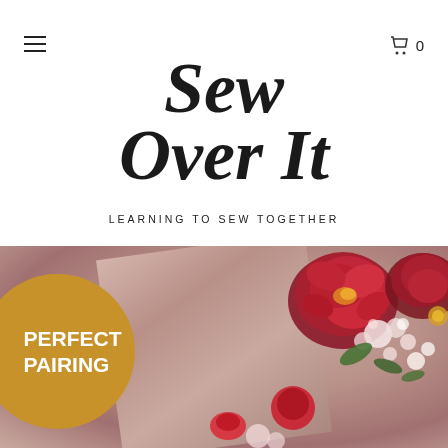[Figure (logo): Sew Over It logo with tagline LEARNING TO SEW TOGETHER]
You cannot add "Ponte di Roma - Red" to the basket because the product is out of stock.
[Figure (photo): Close-up photo of pink fabric with floral print showing red and pink flowers, overlaid with gold circle badge reading PERFECT PAIRING]